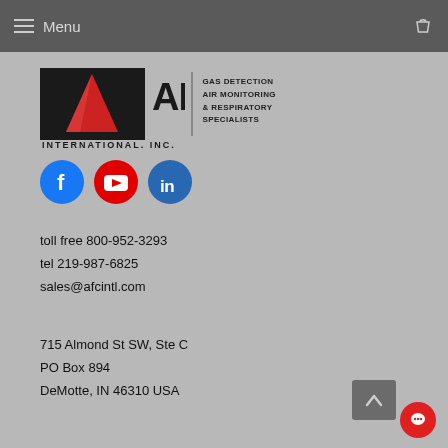Menu
[Figure (logo): AFC International Inc. logo with red pyramid/triangle on black square background, text 'AFC INTERNATIONAL, INC.' and tagline 'GAS DETECTION AIR MONITORING & RESPIRATORY SPECIALISTS']
[Figure (infographic): Social media icons: Facebook (blue circle with f), YouTube (red circle with play button), LinkedIn (blue circle with in)]
toll free 800-952-3293
tel 219-987-6825
sales@afcintl.com
715 Almond St SW, Ste C
PO Box 894
DeMotte, IN 46310 USA